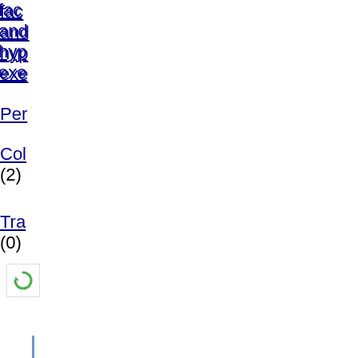fac
and
hyp
exe
Per
Col
(2)
Tra
(0)
[Figure (illustration): Refresh/reload icon button]
[Figure (illustration): Vertical blue divider line]
[Figure (illustration): People/group icon]
[Figure (illustration): Color swatch icon with blue and black squares]
Mu
sca
pol
aff
sec
and
rac
any
in
the
Tra
Ma